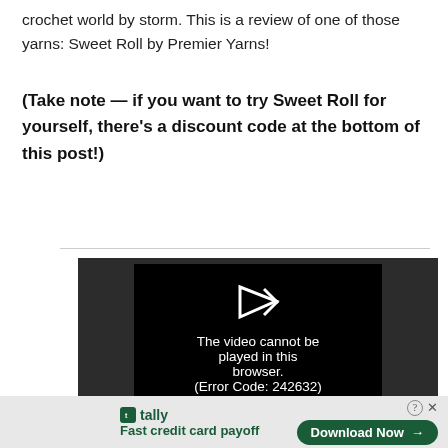crochet world by storm. This is a review of one of those yarns: Sweet Roll by Premier Yarns!
(Take note — if you want to try Sweet Roll for yourself, there's a discount code at the bottom of this post!)
[Figure (screenshot): Embedded video player showing error message: 'The video cannot be played in this browser. (Error Code: 242632)' with a play button arrow icon on a dark background.]
[Figure (screenshot): Advertisement bar for Tally app — 'Fast credit card payoff' with a 'Download Now' button, close controls (? X) in the corner.]